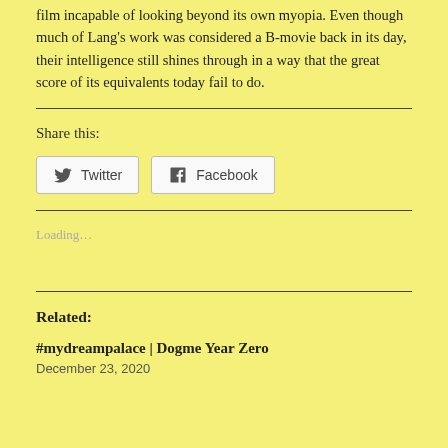film incapable of looking beyond its own myopia. Even though much of Lang's work was considered a B-movie back in its day, their intelligence still shines through in a way that the great score of its equivalents today fail to do.
Share this:
[Figure (other): Twitter and Facebook share buttons]
Loading...
Related:
#mydreampalace | Dogme Year Zero
December 23, 2020